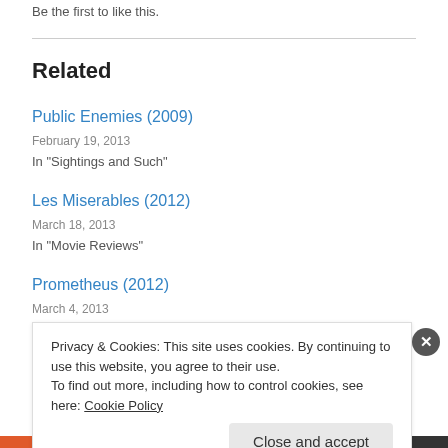Be the first to like this.
Related
Public Enemies (2009)
February 19, 2013
In "Sightings and Such"
Les Miserables (2012)
March 18, 2013
In "Movie Reviews"
Prometheus (2012)
March 4, 2013
Privacy & Cookies: This site uses cookies. By continuing to use this website, you agree to their use.
To find out more, including how to control cookies, see here: Cookie Policy